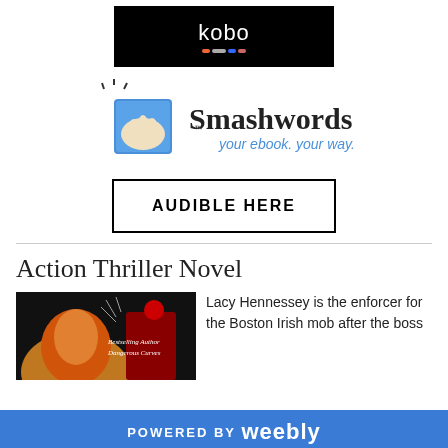[Figure (logo): Kobo black button logo with colored underline dots]
[Figure (logo): Smashwords logo with icon of hand holding book and tagline 'your ebook. your way.']
[Figure (other): AUDIBLE HERE button with black border]
Action Thriller Novel
[Figure (photo): Book cover image showing a woman's face with dramatic lighting, text reads Bestselling Author Dangerous Curves]
Lacy Hennessey is the enforcer for the Boston Irish mob after the boss
POWERED BY weebly